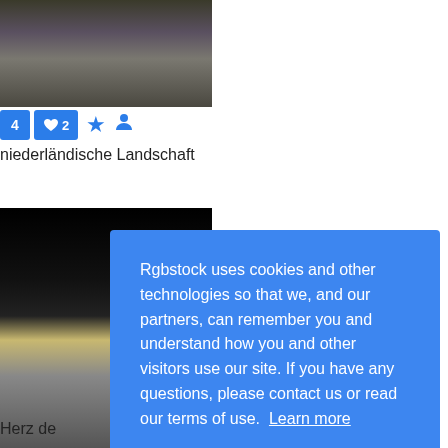[Figure (photo): Landscape photo showing water reflection with dark tones at top of page]
4  ♥2  ★  👤
niederländische Landschaft
[Figure (photo): Dark moody landscape photo with bright sky/sun reflection on water]
1  ♥  Herz de...
Rgbstock uses cookies and other technologies so that we, and our partners, can remember you and understand how you and other visitors use our site. If you have any questions, please contact us or read our terms of use.  Learn more
Decline
Got it!